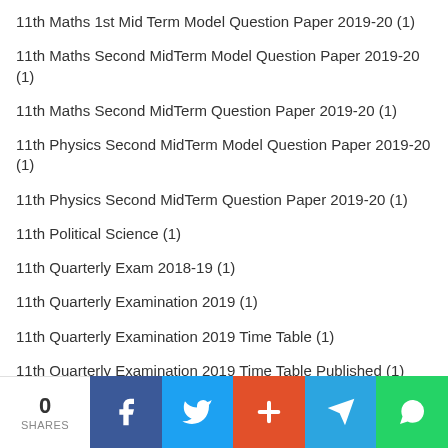11th Maths 1st Mid Term Model Question Paper 2019-20 (1)
11th Maths Second MidTerm Model Question Paper 2019-20 (1)
11th Maths Second MidTerm Question Paper 2019-20 (1)
11th Physics Second MidTerm Model Question Paper 2019-20 (1)
11th Physics Second MidTerm Question Paper 2019-20 (1)
11th Political Science (1)
11th Quarterly Exam 2018-19 (1)
11th Quarterly Examination 2019 (1)
11th Quarterly Examination 2019 Time Table (1)
11th Quarterly Examination 2019 Time Table Published (1)
11th Quarterly Examination 2019-20 (1)